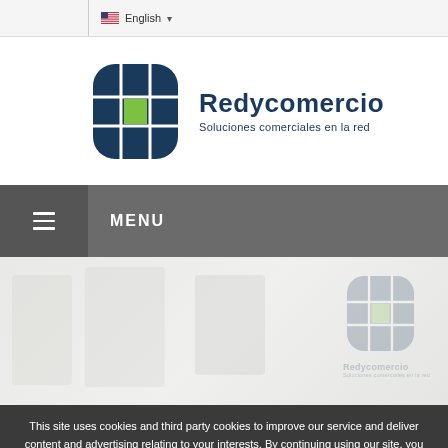English
[Figure (logo): Redycomercio logo: globe icon with green center square and dark blue segments, with text 'Redycomercio' and subtitle 'Soluciones comerciales en la red']
MENU
[Figure (photo): Faded hero background image showing office scene with Redycomercio watermark logo on right side]
This site uses cookies and third party cookies to improve our service and deliver content and advertising relating to your interests. By continuing using our site, you accept our cookie policy and consent